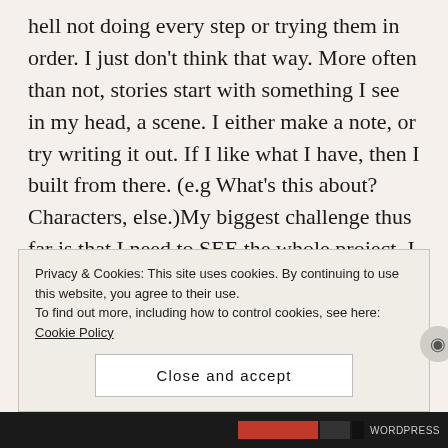hell not doing every step or trying them in order. I just don't think that way. More often than not, stories start with something I see in my head, a scene. I either make a note, or try writing it out. If I like what I have, then I built from there. (e.g What's this about? Characters, else.)My biggest challenge thus far is that I need to SEE the whole project. I can do that in my head for a short, but for a longer work? No success thus far. I like your outlines (no, I am not the one proposing marriage, I only asked her out for coffee) e-mails a lot. There is story boarding, where you make drawings (stick figures
Privacy & Cookies: This site uses cookies. By continuing to use this website, you agree to their use.
To find out more, including how to control cookies, see here: Cookie Policy
Close and accept